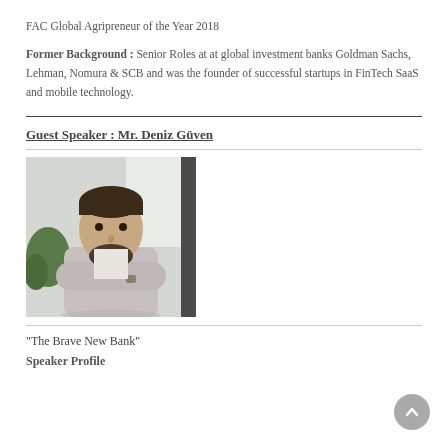FAC Global Agripreneur of the Year 2018
Former Background : Senior Roles at at global investment banks Goldman Sachs, Lehman, Nomura & SCB and was the founder of successful startups in FinTech SaaS and mobile technology.
Guest Speaker : Mr. Deniz Güven
[Figure (photo): Portrait photo of Mr. Deniz Güven, a man with a beard wearing a light grey cardigan, arms crossed, standing in a bright indoor environment with plants in the background.]
“The Brave New Bank”
Speaker Profile